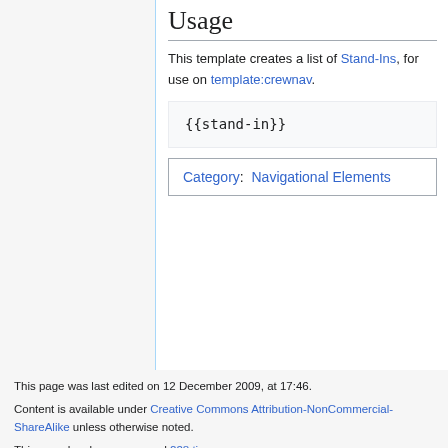Usage
This template creates a list of Stand-Ins, for use on template:crewnav.
{{stand-in}}
Category:  Navigational Elements
This page was last edited on 12 December 2009, at 17:46.

Content is available under Creative Commons Attribution-NonCommercial-ShareAlike unless otherwise noted.

This page has been accessed 228 times.

Privacy policy   About Heroes Wiki

Disclaimers